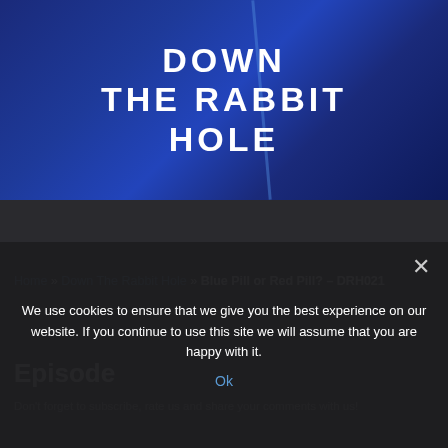[Figure (logo): Down The Rabbit Hole podcast logo — bold geometric white caps on blue gradient background with diagonal light streak]
Home » Down The Rabbit Hole » Blue Pill or Red Pill? – DRH021
Episode
Don't forget to subscribe, rate us and share your comments with us!
We use cookies to ensure that we give you the best experience on our website. If you continue to use this site we will assume that you are happy with it.
Ok